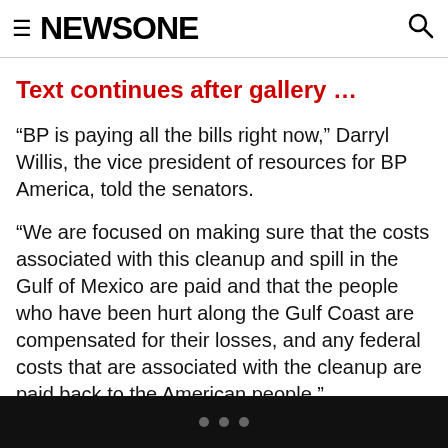≡ NEWSONE [search icon]
Text continues after gallery …
“BP is paying all the bills right now,” Darryl Willis, the vice president of resources for BP America, told the senators.
“We are focused on making sure that the costs associated with this cleanup and spill in the Gulf of Mexico are paid and that the people who have been hurt along the Gulf Coast are compensated for their losses, and any federal costs that are associated with the cleanup are paid back to the American people.”